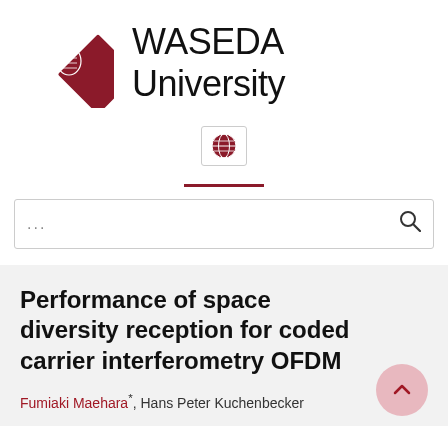[Figure (logo): Waseda University logo: red diamond shape with crest on left, 'WASEDA University' text on right]
[Figure (other): Globe/language selector icon in a small bordered box]
...
Performance of space diversity reception for coded carrier interferometry OFDM
Fumiaki Maehara*, Hans Peter Kuchenbecker